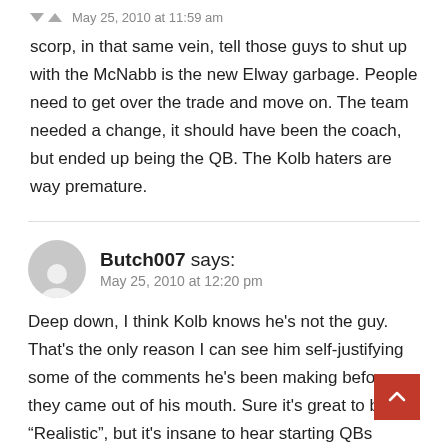May 25, 2010 at 11:59 am
scorp, in that same vein, tell those guys to shut up with the McNabb is the new Elway garbage. People need to get over the trade and move on. The team needed a change, it should have been the coach, but ended up being the QB. The Kolb haters are way premature.
Butch007 says: May 25, 2010 at 12:20 pm
Deep down, I think Kolb knows he's not the guy. That's the only reason I can see him self-justifying some of the comments he's been making before they came out of his mouth. Sure it's great to be “Realistic”, but it's insane to hear starting QBs talking about “Renting Time” in their career the first year they are out or being ok with competing with a